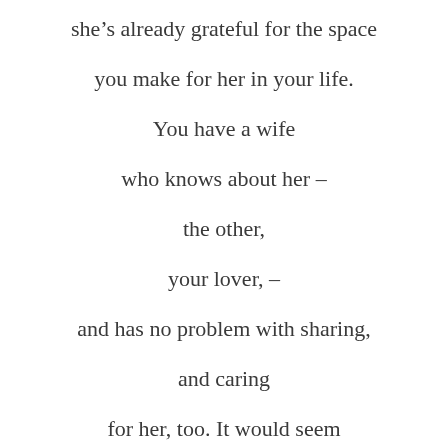she's already grateful for the space

you make for her in your life.

You have a wife

who knows about her –

the other,

your lover, –

and has no problem with sharing,

and caring

for her, too. It would seem